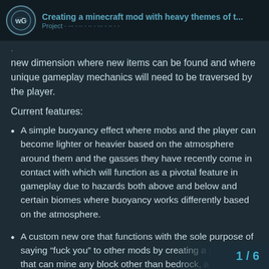Creating a minecraft mod with heavy themes of t... wG
new dimension where new items can be found and where unique gameplay mechanics will need to be traversed by the player.
Current features:
A simple buoyancy effect where mobs and the player can become lighter or heavier based on the atmosphere around them and the gasses they have recently come in contact with which will function as a pivotal feature in gameplay due to hazards both above and below and certain biomes where buoyancy works differently based on the atmosphere.
A custom new ore that functions with the sole purpose of saying “fuck you” to other mods by creating a pickaxe that can mine any block other than bedrock, a sword that can damage any foe, and a crown that w¯¯ ¯ being one-shot from full health. (The…
1 / 6